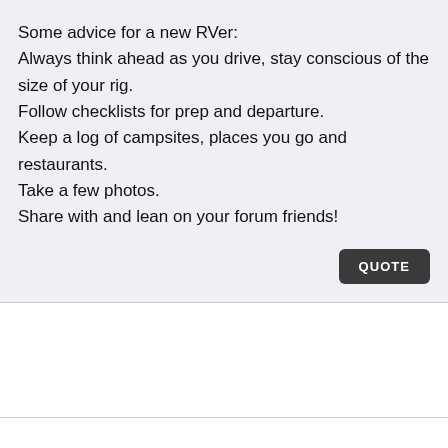Some advice for a new RVer:
Always think ahead as you drive, stay conscious of the size of your rig.
Follow checklists for prep and departure.
Keep a log of campsites, places you go and restaurants.
Take a few photos.
Share with and lean on your forum friends!